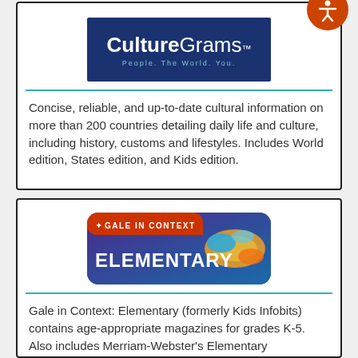[Figure (logo): CultureGrams logo — dark navy blue background with bold white text reading 'CultureGrams' and tagline 'People. The World. You.']
[Figure (logo): Orange circular accessibility icon (person with arms out) in top right corner]
Concise, reliable, and up-to-date cultural information on more than 200 countries detailing daily life and culture, including history, customs and lifestyles. Includes World edition, States edition, and Kids edition.
[Figure (logo): Gale in Context: Elementary logo — red top bar with 'GALE IN CONTEXT' text and star icon, dark blue/purple background with 'ELEMENTARY' in large white bold text, fish image on the right]
Gale in Context: Elementary (formerly Kids Infobits) contains age-appropriate magazines for grades K-5. Also includes Merriam-Webster's Elementary